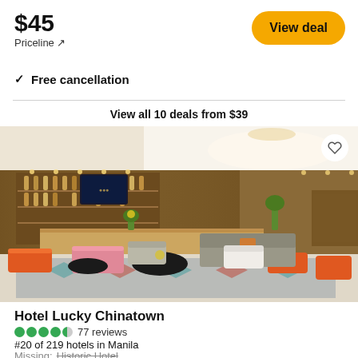$45
Priceline ↗
View deal
✓ Free cancellation
View all 10 deals from $39
[Figure (photo): Hotel lobby interior showing a modern reception area with warm brown wood paneling, bar shelving, sofas, colorful orange and teal ottomans, and a patterned carpet.]
Hotel Lucky Chinatown
77 reviews
#20 of 219 hotels in Manila
Missing: Historic Hotel
"Another unique selection from HLC's seasonal..."